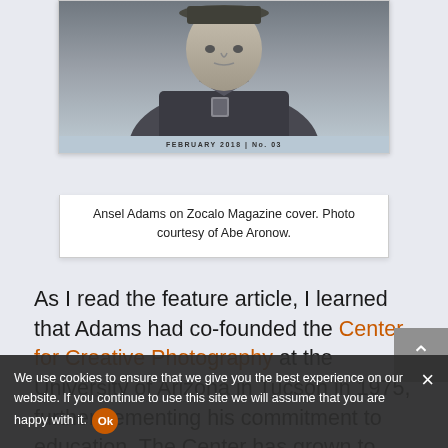[Figure (photo): Black and white portrait photo of Ansel Adams on Zocalo Magazine cover, showing him from chest up wearing a jacket with a pin/badge, FEBRUARY 2018 | No. 03 text visible on magazine band]
Ansel Adams on Zocalo Magazine cover. Photo courtesy of Abe Aronow.
As I read the feature article, I learned that Adams had co-founded the Center for Creative Photography at the University of Arizona in Tucson in 1975, further cementing his commitment to education. The Center has grown to become one of the most prominent academic art museums and research centers for the history of photographic
We use cookies to ensure that we give you the best experience on our website. If you continue to use this site we will assume that you are happy with it.